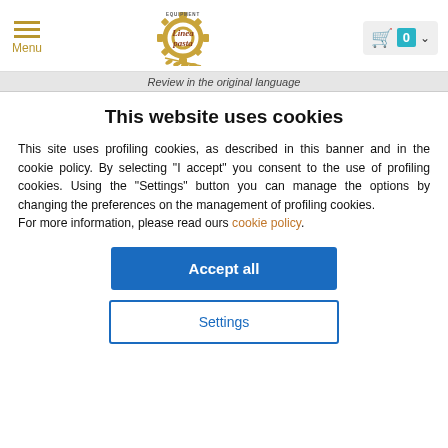[Figure (logo): Lineapasta Equipment logo with gear and wheat graphic]
Review in the original language
This website uses cookies
This site uses profiling cookies, as described in this banner and in the cookie policy. By selecting "I accept" you consent to the use of profiling cookies. Using the "Settings" button you can manage the options by changing the preferences on the management of profiling cookies.
For more information, please read ours cookie policy.
Accept all
Settings